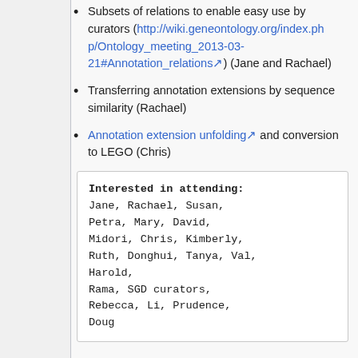Subsets of relations to enable easy use by curators (http://wiki.geneontology.org/index.php/Ontology_meeting_2013-03-21#Annotation_relations) (Jane and Rachael)
Transferring annotation extensions by sequence similarity (Rachael)
Annotation extension unfolding and conversion to LEGO (Chris)
Interested in attending: Jane, Rachael, Susan, Petra, Mary, David, Midori, Chris, Kimberly, Ruth, Donghui, Tanya, Val, Harold, Rama, SGD curators, Rebecca, Li, Prudence, Doug